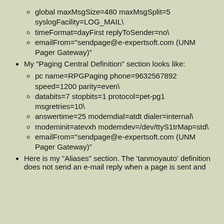global maxMsgSize=480 maxMsgSplit=5 syslogFacility=LOG_MAIL\
timeFormat=dayFirst replyToSender=no\
emailFrom="sendpage@e-expertsoft.com (UNM Pager Gateway)"
My "Paging Central Definition" section looks like:
pc name=RPGPaging phone=9632567892 speed=1200 parity=even\
databits=7 stopbits=1 protocol=pet-pg1 msgretries=10\
answertime=25 modemdial=atdt dialer=internal\
modeminit=atevxh modemdev=/dev/ttyS1trMap=std\
emailFrom="sendpage@e-expertsoft.com (UNM Pager Gateway)"
Here is my "Aliases" section. The 'tanmoyauto' definition does not send an e-mail reply when a page is sent and